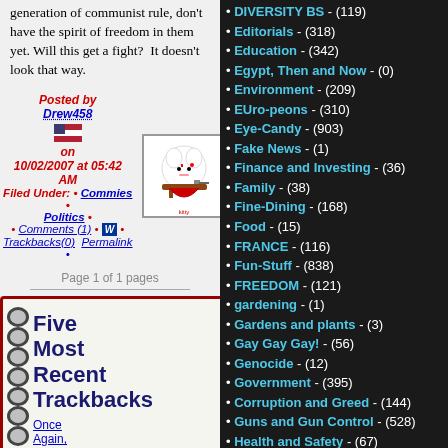generation of communist rule, don't have the spirit of freedom in them yet. Will this get a fight? It doesn't look that way.
Posted by Drew458 on 10/02/2007 at 05:42 AM Filed Under: • Commies • Politics • Comments (1) • Trackbacks(0) Permalink •
Page 1 of 1 pages
[Figure (other): Notebook graphic with spiral binding and text 'Five Most Recent Trackbacks', followed by 'Once Again,']
DIVERSITY BS - (119)
Editorials - (318)
Education - (342)
Egypt, Then and Now - (0)
Environment - (209)
EUro-peons - (310)
Eye-Candy - (903)
Fake News - (1)
Finance and Investing - (36)
Family - (38)
Fine-Dining - (168)
Food - (15)
FRANCE - (116)
Fun-Stuff - (838)
FREEDOM - (121)
gardening - (1)
Gardens and plants - (3)
Gay Gay Gay! - (56)
Genocide - (12)
Government - (395)
Corruption and Greed - (144)
Guns and Gun Control - (528)
Health and Safety - (67)
Health-Medicine - (320)
Heroes - (72)
High Tech - (33)
Hildabeast - (77)
History - (345)
Holidays - (63)
Christmas - (15)
Hollywood - (184)
Homeland-Security - (41)
Humor - (1876)
Illegal-Aliens and Immigration - (502)
Inflation and High Prices - (16)
Insanity - (252)
International - (396)
Iran - (62)
Iraq - (175)
Israel - (81)
Jack Booted Thugs - (124)